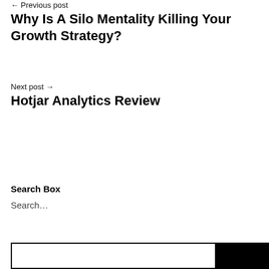← Previous post
Why Is A Silo Mentality Killing Your Growth Strategy?
Next post →
Hotjar Analytics Review
Search Box
Search…